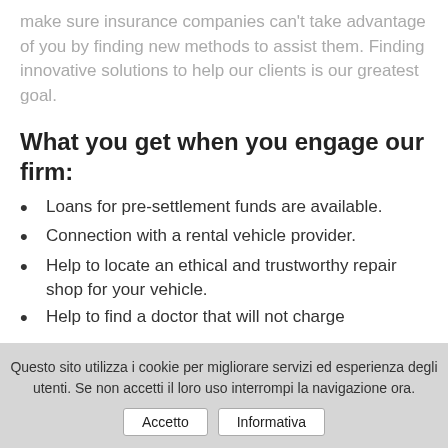make sure insurance companies can't take advantage of you by finding new methods to assist them. Finding innovative solutions to help our clients is our greatest goal.
What you get when you engage our firm:
Loans for pre-settlement funds are available.
Connection with a rental vehicle provider.
Help to locate an ethical and trustworthy repair shop for your vehicle.
Help to find a doctor that will not charge
Questo sito utilizza i cookie per migliorare servizi ed esperienza degli utenti. Se non accetti il loro uso interrompi la navigazione ora.